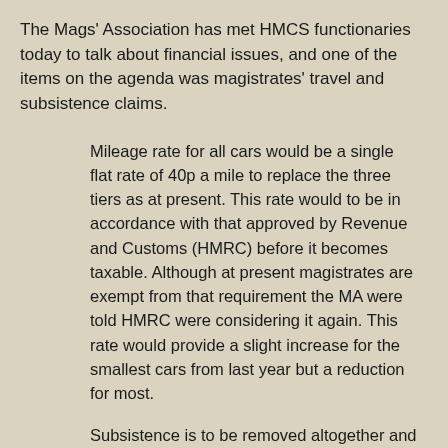The Mags' Association has met HMCS functionaries today to talk about financial issues, and one of the items on the agenda was magistrates' travel and subsistence claims.
Mileage rate for all cars would be a single flat rate of 40p a mile to replace the three tiers as at present. This rate would to be in accordance with that approved by Revenue and Customs (HMRC) before it becomes taxable. Although at present magistrates are exempt from that requirement the MA were told HMRC were considering it again. This rate would provide a slight increase for the smallest cars from last year but a reduction for most.
Subsistence is to be removed altogether and replaced with claims for expenses actually incurred up to maxima rates. HMCTS will require receipts for any claims, although they acknowledged that they only had the resources to check about 10% of claims. The maxima will